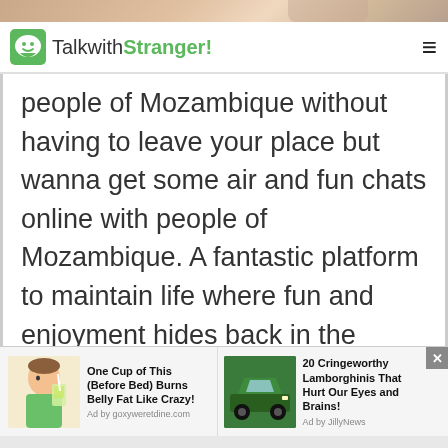TalkwithStranger!
people of Mozambique without having to leave your place but wanna get some air and fun chats online with people of Mozambique. A fantastic platform to maintain life where fun and enjoyment hides back in the curtains free chatrooms. A friendly chat with strangers gets you
[Figure (screenshot): Advertisement banner with two ads: 'One Cup of This (Before Bed) Burns Belly Fat Like Crazy!' with image of woman drinking, ad by goxyweretdine.com; and '20 Cringeworthy Lamborghinis That Hurt Our Eyes and Brains!' with image of green Lamborghini, ad by JillyNews]
One Cup of This (Before Bed) Burns Belly Fat Like Crazy! — Ad by goxyweretdine.com
20 Cringeworthy Lamborghinis That Hurt Our Eyes and Brains! — Ad by JillyNews